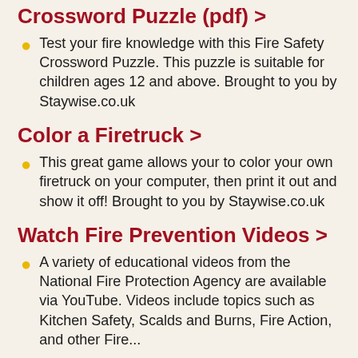Crossword Puzzle (pdf) >
Test your fire knowledge with this Fire Safety Crossword Puzzle. This puzzle is suitable for children ages 12 and above. Brought to you by Staywise.co.uk
Color a Firetruck >
This great game allows your to color your own firetruck on your computer, then print it out and show it off! Brought to you by Staywise.co.uk
Watch Fire Prevention Videos >
A variety of educational videos from the National Fire Protection Agency are available via YouTube. Videos include topics such as Kitchen Safety, Scalds and Burns, Fire Action, and other Fire...